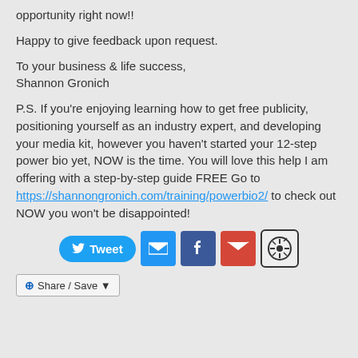opportunity right now!!
Happy to give feedback upon request.
To your business & life success,
Shannon Gronich
P.S. If you're enjoying learning how to get free publicity, positioning yourself as an industry expert, and developing your media kit, however you haven't started your 12-step power bio yet, NOW is the time. You will love this help I am offering with a step-by-step guide FREE Go to https://shannongronich.com/training/powerbio2/ to check out NOW you won't be disappointed!
[Figure (infographic): Social sharing buttons: Tweet (Twitter), Email, Facebook, Gmail, WordPress]
[Figure (infographic): Share / Save button with plus icon]